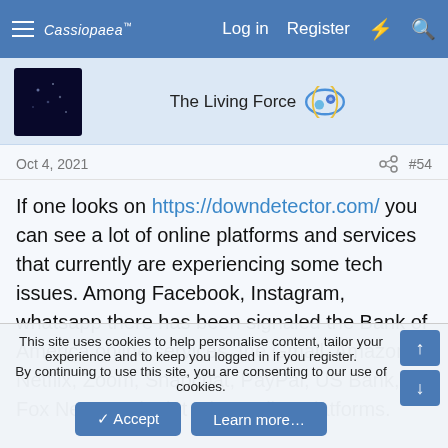Cassiopaea Forum — Log in   Register
[Figure (screenshot): User avatar: dark blue/black square with small star-like dots]
The Living Force
Oct 4, 2021   #54
If one looks on https://downdetector.com/ you can see a lot of online platforms and services that currently are experiencing some tech issues. Among Facebook, Instagram, whatsapp there has been signaled the Bank of America online services, the Gmail, Amazon, Netflix, Zoom, Snapchat, PayPal, US Bank, Fox News and a lot other online platforms.

Anyway we don't know yet what the heck is going on,
This site uses cookies to help personalise content, tailor your experience and to keep you logged in if you register.
By continuing to use this site, you are consenting to our use of cookies.